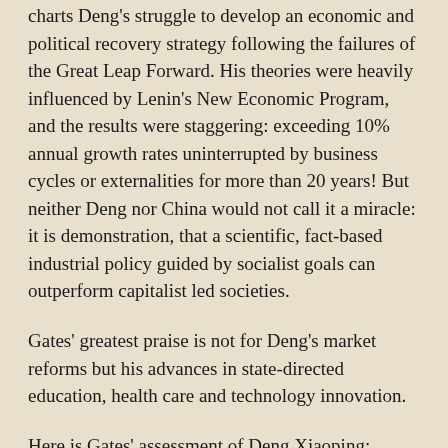charts Deng's struggle to develop an economic and political recovery strategy following the failures of the Great Leap Forward. His theories were heavily influenced by Lenin's New Economic Program, and the results were staggering: exceeding 10% annual growth rates uninterrupted by business cycles or externalities for more than 20 years! But neither Deng nor China would not call it a miracle: it is demonstration, that a scientific, fact-based industrial policy guided by socialist goals can outperform capitalist led societies.
Gates' greatest praise is not for Deng's market reforms but his advances in state-directed education, health care and technology innovation.
Here is Gates' assessment of Deng Xiaoping:
Although Deng's transformation of China cannot be separated from the violent attacks that he